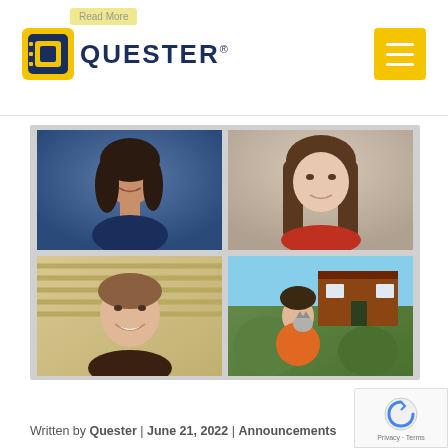Read More
[Figure (logo): Quester logo — dark blue Q icon with yellow accent and QUESTER text]
[Figure (illustration): Yellow hamburger menu button icon (three horizontal white lines on yellow background)]
[Figure (photo): 2x2 grid of four headshot/portrait photos on a gray background: top-left is a dark-haired woman in professional blue top; top-right is a young woman with long brown hair; bottom-left is a young man smiling; bottom-right is a young woman in orange holding a cat outside a brick house]
Written by Quester | June 21, 2022 | Announcements